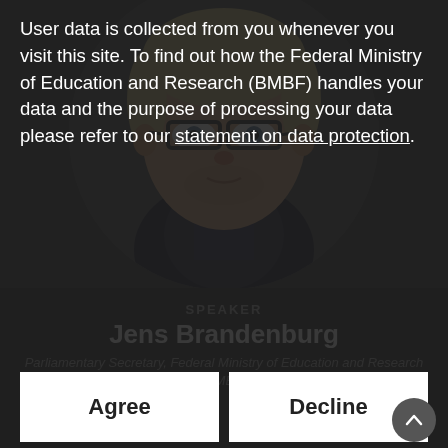[Figure (photo): Headshot photo of a man with glasses and blonde hair in a circular crop, on a dark background]
User data is collected from you whenever you visit this site. To find out how the Federal Ministry of Education and Research (BMBF) handles your data and the purpose of processing your data please refer to our statement on data protection.
SPEAKER
Jens Brandenburg
Parliamentary Secretary, Federal Ministry of Education and Research (BMBF)
Agree
Decline